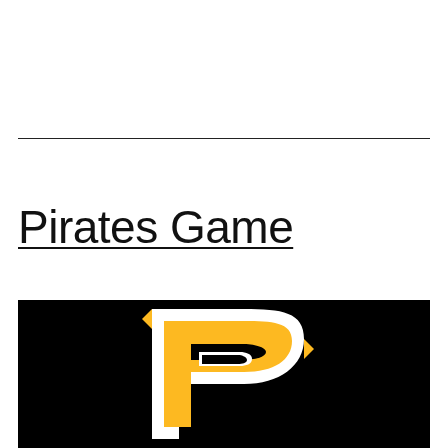Pirates Game
[Figure (logo): Pittsburgh Pirates logo — stylized gold letter P with white outline on black background]